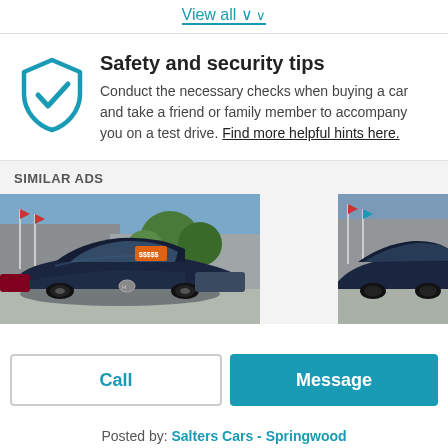View all ∨
Safety and security tips
Conduct the necessary checks when buying a car and take a friend or family member to accompany you on a test drive. Find more helpful hints here.
SIMILAR ADS
[Figure (photo): Photos of cars at a dealership showing similar ads]
Call
Message
Posted by: Salters Cars - Springwood